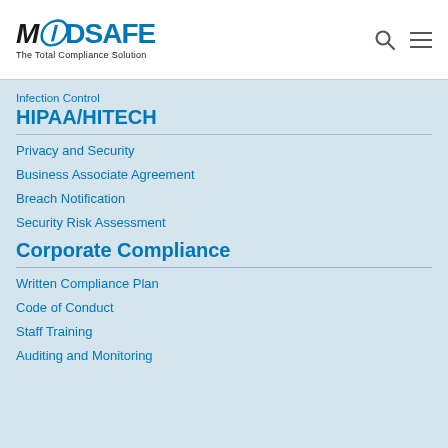[Figure (logo): MedSafe logo with tagline 'The Total Compliance Solution' and search/menu icons]
Infection Control
HIPAA/HITECH
Privacy and Security
Business Associate Agreement
Breach Notification
Security Risk Assessment
Corporate Compliance
Written Compliance Plan
Code of Conduct
Staff Training
Auditing and Monitoring